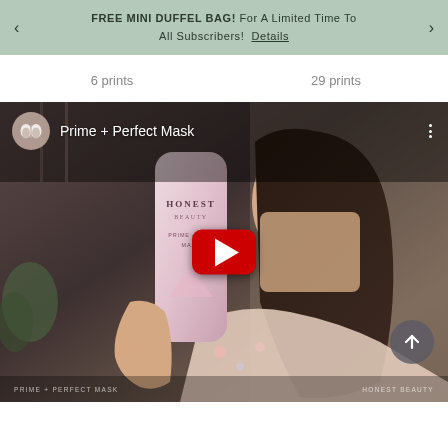FREE MINI DUFFEL BAG! For A Limited Time To All Subscribers! Details
6 prints
29 prints
[Figure (screenshot): YouTube video thumbnail showing a woman holding an Honest Beauty Prime + Perfect Mask product tube. Video title 'Prime + Perfect Mask' displayed with YouTube channel icon. Red YouTube play button in center. Bottom bar shows 'PRIME + PERFECT MASK' and 'HONEST BEAUTY' text.]